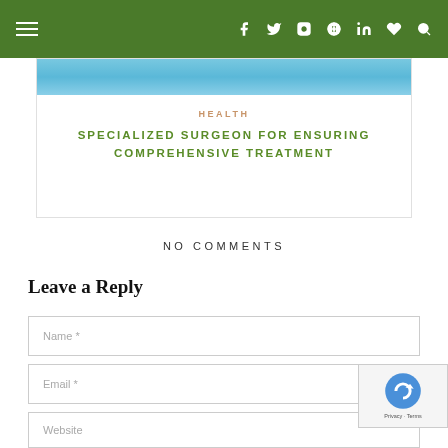Navigation bar with hamburger menu and social icons: f (Facebook), Twitter, Instagram, Pinterest, LinkedIn, heart, search
[Figure (photo): Partial view of a blue surgical/medical background image]
HEALTH
SPECIALIZED SURGEON FOR ENSURING COMPREHENSIVE TREATMENT
NO COMMENTS
Leave a Reply
Name *
Email *
Website